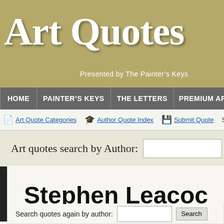Art Quotes
Presented by The Painter's Keys
HOME | PAINTER'S KEYS | THE LETTERS | PREMIUM ART
Art Quote Categories | Author Quote Index | Submit Quote | Sh
Art quotes search by Author:
Join thousands of others and get the twice-weekly art letter. Subscription is free.
Absolutely free, no strings. Sign up to the twice-weekly art letter and join our art community.
Stephen Leacock
Search quotes again by author: